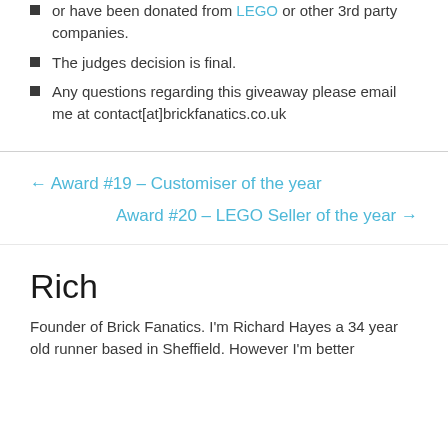or have been donated from LEGO or other 3rd party companies.
The judges decision is final.
Any questions regarding this giveaway please email me at contact[at]brickfanatics.co.uk
← Award #19 – Customiser of the year
Award #20 – LEGO Seller of the year →
Rich
Founder of Brick Fanatics. I'm Richard Hayes a 34 year old runner based in Sheffield. However I'm better